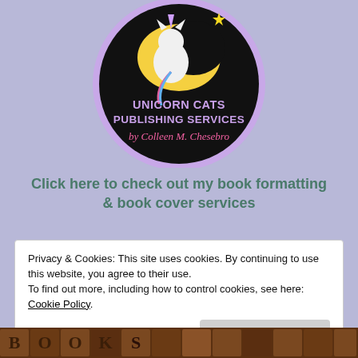[Figure (logo): Circular logo with purple border on black background. A cartoon unicorn cat sitting on a yellow crescent moon with a star. Text inside reads 'UNICORN CATS PUBLISHING SERVICES' in bold purple/lavender letters, and below in pink cursive 'by Colleen M. Chesebro'.]
Click here to check out my book formatting & book cover services
Privacy & Cookies: This site uses cookies. By continuing to use this website, you agree to their use.
To find out more, including how to control cookies, see here: Cookie Policy
[Figure (photo): Bottom strip showing wooden letter blocks / typography elements in warm brown tones.]